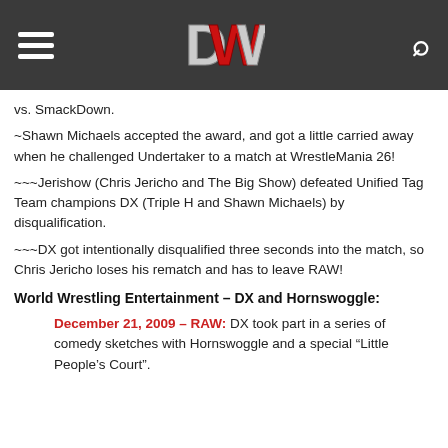DWW Navigation Header
vs. SmackDown.
~Shawn Michaels accepted the award, and got a little carried away when he challenged Undertaker to a match at WrestleMania 26!
~~~Jerishow (Chris Jericho and The Big Show) defeated Unified Tag Team champions DX (Triple H and Shawn Michaels) by disqualification.
~~~DX got intentionally disqualified three seconds into the match, so Chris Jericho loses his rematch and has to leave RAW!
World Wrestling Entertainment – DX and Hornswoggle:
December 21, 2009 – RAW: DX took part in a series of comedy sketches with Hornswoggle and a special "Little People's Court".